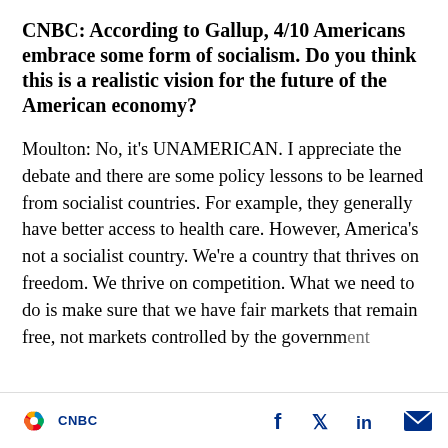CNBC: According to Gallup, 4/10 Americans embrace some form of socialism. Do you think this is a realistic vision for the future of the American economy?
Moulton: No, it's UNAMERICAN. I appreciate the debate and there are some policy lessons to be learned from socialist countries. For example, they generally have better access to health care. However, America's not a socialist country. We're a country that thrives on freedom. We thrive on competition. What we need to do is make sure that we have fair markets that remain free, not markets controlled by the government
CNBC [logo] f [Facebook] [Twitter] in [LinkedIn] [Email]